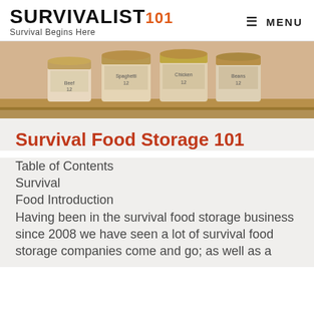SURVIVALIST101 Survival Begins Here | MENU
[Figure (photo): Shelf of canned food storage items lined up in a row on a wooden shelf, viewed from the side showing labels and lids.]
Survival Food Storage 101
Table of Contents
Survival
Food Introduction
Having been in the survival food storage business since 2008 we have seen a lot of survival food storage companies come and go; as well as a